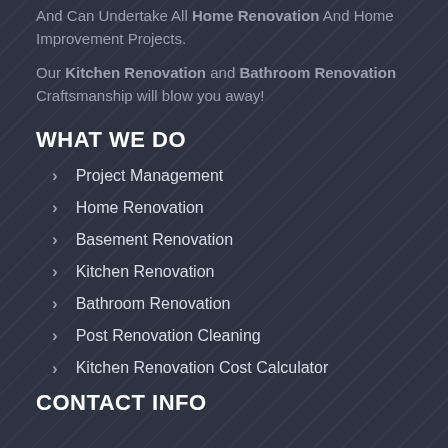And Can Undertake All Home Renovation And Home Improvement Projects.
Our Kitchen Renovation and Bathroom Renovation Craftsmanship will blow you away!
WHAT WE DO
Project Management
Home Renovation
Basement Renovation
Kitchen Renovation
Bathroom Renovation
Post Renovation Cleaning
Kitchen Renovation Cost Calculator
CONTACT INFO